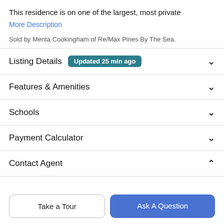This residence is on one of the largest, most private
More Description
Sold by Menta Cookingham of Re/Max Pines By The Sea.
Listing Details  Updated 25 min ago
Features & Amenities
Schools
Payment Calculator
Contact Agent
Take a Tour
Ask A Question